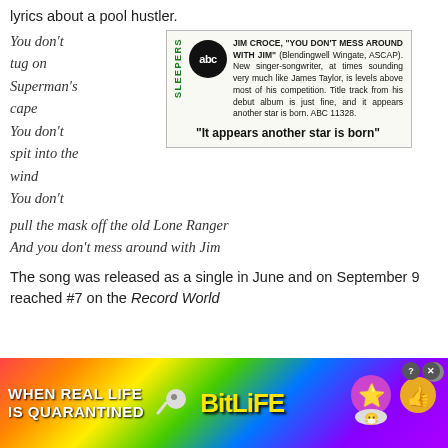lyrics about a pool hustler.
You don't tug on Superman's cape
You don't spit into the wind
You don't pull the mask off the old Lone Ranger
And you don't mess around with Jim
[Figure (other): A clipping showing a record review for Jim Croce 'You Don't Mess Around With Jim' with ABC logo and SLEEPERS label. Text reads: JIM CROCE, "YOU DON'T MESS AROUND WITH JIM" (Blendingwell Wingate, ASCAP). New singer-songwriter, at times sounding very much like James Taylor, is levels above most of his competition. Title track from his debut album is just fine, and it appears another star is born. ABC 11328. Caption: "It appears another star is born"]
"It appears another star is born"
The song was released as a single in June and on September 9 reached #7 on the Record World
[Figure (infographic): Advertisement banner for BitLife mobile game with rainbow gradient background, text 'WHEN REAL LIFE IS QUARANTINED' and 'BitLife' logo with emoji characters]